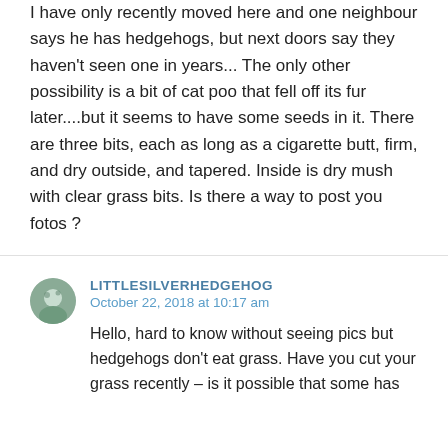I have only recently moved here and one neighbour says he has hedgehogs, but next doors say they haven't seen one in years... The only other possibility is a bit of cat poo that fell off its fur later....but it seems to have some seeds in it. There are three bits, each as long as a cigarette butt, firm, and dry outside, and tapered. Inside is dry mush with clear grass bits. Is there a way to post you fotos ?
LITTLESILVERHEDGEHOG
October 22, 2018 at 10:17 am

Hello, hard to know without seeing pics but hedgehogs don't eat grass. Have you cut your grass recently – is it possible that some has